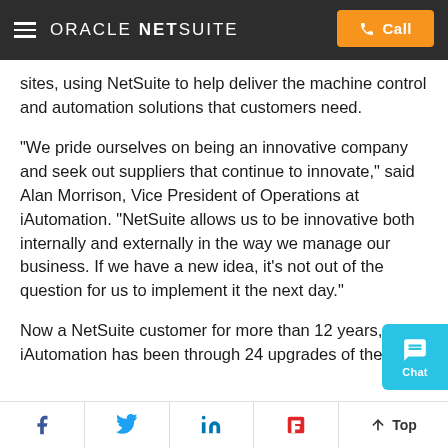ORACLE NETSUITE | Call
sites, using NetSuite to help deliver the machine control and automation solutions that customers need.
“We pride ourselves on being an innovative company and seek out suppliers that continue to innovate,” said Alan Morrison, Vice President of Operations at iAutomation. “NetSuite allows us to be innovative both internally and externally in the way we manage our business. If we have a new idea, it’s not out of the question for us to implement it the next day.”
Now a NetSuite customer for more than 12 years, iAutomation has been through 24 upgrades of the
f  🐦  in  🟧  ↑ Top